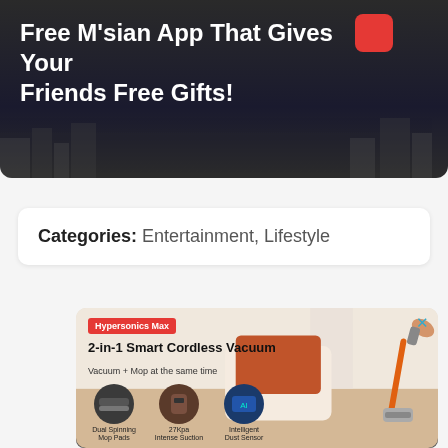[Figure (illustration): Dark banner with white bold text: 'Free M'sian App That Gives Your Friends Free Gifts!' and a red app icon on dark city background]
Categories: Entertainment, Lifestyle
[Figure (illustration): Advertisement for Hypersonics Max 2-in-1 Smart Cordless Vacuum. Red badge label 'Hypersonics Max', title '2-in-1 Smart Cordless Vacuum', subtitle 'Vacuum + Mop at the same time'. Three feature circles: Dual Spinning Mop Pads, 27Kpa Intense Suction, Intelligent Dust Sensor. Close button X top right. Background shows bedroom scene with orange/rust throw blanket. Vacuum cleaner with orange stick shown on right. Mop attachment shown at bottom.]